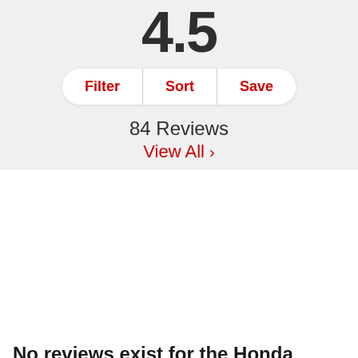4.5
Filter | Sort | Save
84 Reviews
View All >
No reviews exist for the Honda Odyssey in
[Figure (other): Gray placeholder box at bottom of page]